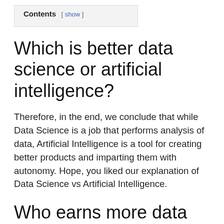Contents [ show ]
Which is better data science or artificial intelligence?
Therefore, in the end, we conclude that while Data Science is a job that performs analysis of data, Artificial Intelligence is a tool for creating better products and imparting them with autonomy. Hope, you liked our explanation of Data Science vs Artificial Intelligence.
Who earns more data science or artificial intelligence?